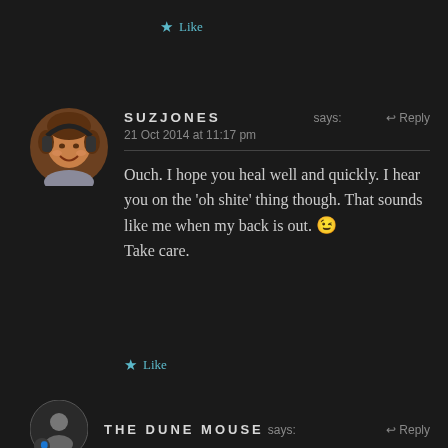★ Like
[Figure (photo): Circular avatar photo of a smiling woman wearing headphones]
SUZJONES says: 21 Oct 2014 at 11:17 pm ↩ Reply
Ouch. I hope you heal well and quickly. I hear you on the 'oh shite' thing though. That sounds like me when my back is out. 😉 Take care.
★ Like
[Figure (photo): Partial circular avatar of THE DUNE MOUSE commenter]
THE DUNE MOUSE says: ↩ Reply